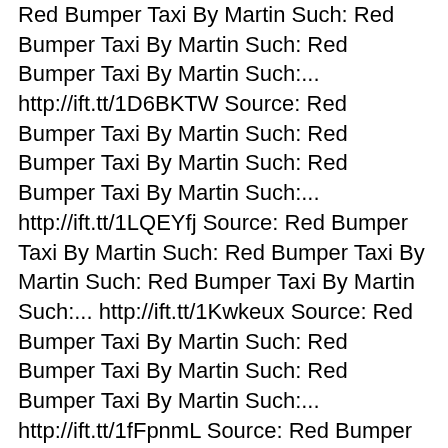Red Bumper Taxi By Martin Such: Red Bumper Taxi By Martin Such: Red Bumper Taxi By Martin Such:... http://ift.tt/1D6BKTW Source: Red Bumper Taxi By Martin Such: Red Bumper Taxi By Martin Such: Red Bumper Taxi By Martin Such:... http://ift.tt/1LQEYfj Source: Red Bumper Taxi By Martin Such: Red Bumper Taxi By Martin Such: Red Bumper Taxi By Martin Such:... http://ift.tt/1Kwkeux Source: Red Bumper Taxi By Martin Such: Red Bumper Taxi By Martin Such: Red Bumper Taxi By Martin Such:... http://ift.tt/1fFpnmL Source: Red Bumper Taxi By Martin Such: Red Bumper Taxi By Martin Such: Red Bumper Taxi By Martin Such:... http://ift.tt/1DNLVYc Source: Red Bumper Taxi By Martin Such: Red Bumper Taxi By Martin Such: Red Bumper Taxi By Martin Such:... http://ift.tt/1DO4n2X Source: Red Bumper Taxi By Martin Such: Red Bumper Taxi By Martin Such: Red Bumper Taxi By Martin Such:... http://ift.tt/1KyRNcl Source: Red Bumper Taxi By Martin Such: Red Bumper Taxi By Martin Such: Red Bumper Taxi By Martin Such:... http://ift.tt/1SMGyPR Source: Red Bumper Taxi By Martin Such: Red Bumper Taxi By Martin Such: Red Bumper Taxi By Martin Such:... http://ift.tt/1KzUNpk Source: Red Bumper Taxi By Martin